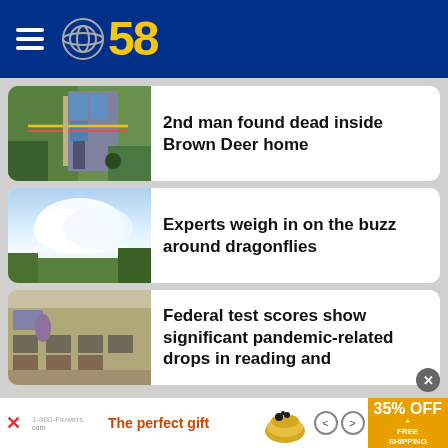[Figure (logo): CBS 58 logo with hamburger menu on dark blue header bar]
2nd man found dead inside Brown Deer home
[Figure (photo): Crime scene photo with police tape in front of a house]
Experts weigh in on the buzz around dragonflies
[Figure (photo): Cloudy sky with trees photo]
Federal test scores show significant pandemic-related drops in reading and
[Figure (photo): Classroom with students seated at desks and teacher standing]
[Figure (infographic): Advertisement banner: The perfect gift, 35% OFF + FREE SHIPPING]